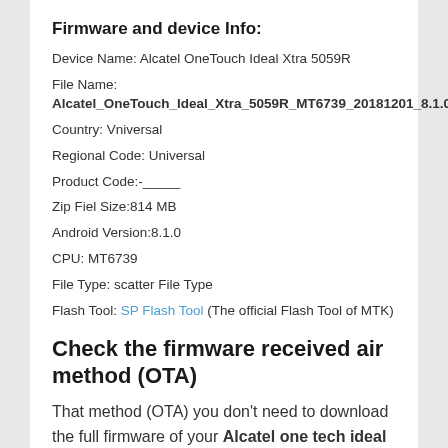Firmware and device Info:
Device Name: Alcatel OneTouch Ideal Xtra 5059R
File Name: Alcatel_OneTouch_Ideal_Xtra_5059R_MT6739_20181201_8.1.0
Country: Vniversal
Regional Code: Universal
Product Code:-_____
Zip Fiel Size:814 MB
Android Version:8.1.0
CPU: MT6739
File Type: scatter File Type
Flash Tool: SP Flash Tool (The official Flash Tool of MTK)
Check the firmware received air method (OTA)
That method (OTA) you don't need to download the full firmware of your Alcatel one tech ideal Xtra from our download site you can check the update for your phone firmware automatically without any other requirements only connect your phone wifi and go to setting and then >About> then